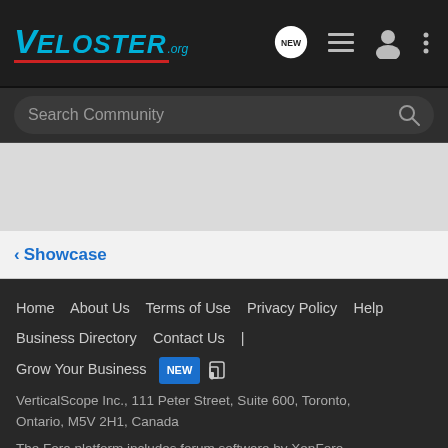VELOSTER.org
Search Community
Showcase
Home  About Us  Terms of Use  Privacy Policy  Help  Business Directory  Contact Us  |  Grow Your Business  NEW  RSS
VerticalScope Inc., 111 Peter Street, Suite 600, Toronto, Ontario, M5V 2H1, Canada
The Fora platform includes forum software by XenForo